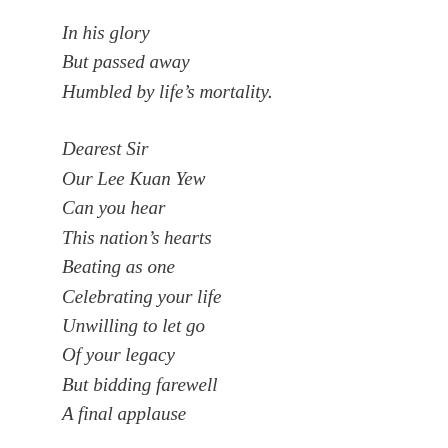In his glory
But passed away
Humbled by life's mortality.

Dearest Sir
Our Lee Kuan Yew
Can you hear
This nation's hearts
Beating as one
Celebrating your life
Unwilling to let go
Of your legacy
But bidding farewell
A final applause